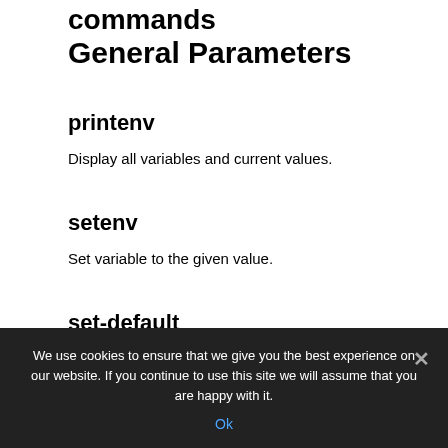commands
General Parameters
printenv
Display all variables and current values.
setenv
Set variable to the given value.
set-default
We use cookies to ensure that we give you the best experience on our website. If you continue to use this site we will assume that you are happy with it.